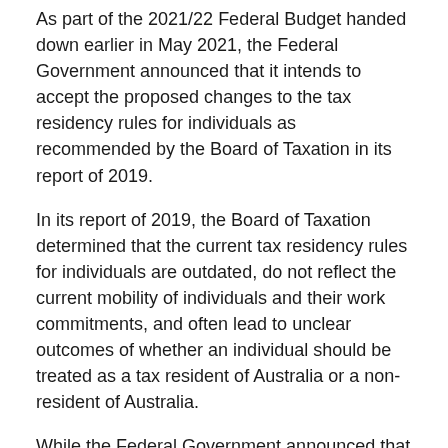As part of the 2021/22 Federal Budget handed down earlier in May 2021, the Federal Government announced that it intends to accept the proposed changes to the tax residency rules for individuals as recommended by the Board of Taxation in its report of 2019.
In its report of 2019, the Board of Taxation determined that the current tax residency rules for individuals are outdated, do not reflect the current mobility of individuals and their work commitments, and often lead to unclear outcomes of whether an individual should be treated as a tax resident of Australia or a non-resident of Australia.
While the Federal Government announced that it would adopt the Board of Taxation's recommended changes to the tax residency rules for individual, it is important to note that the legislation outlining the changes has not yet been released and could still contain differences to the Board of Taxation's announcements.